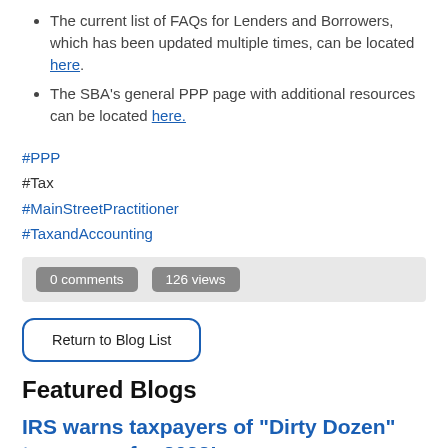The current list of FAQs for Lenders and Borrowers, which has been updated multiple times, can be located here.
The SBA's general PPP page with additional resources can be located here.
#PPP
#Tax
#MainStreetPractitioner
#TaxandAccounting
0 comments   126 views
Return to Blog List
Featured Blogs
IRS warns taxpayers of "Dirty Dozen" tax scams for 2022!